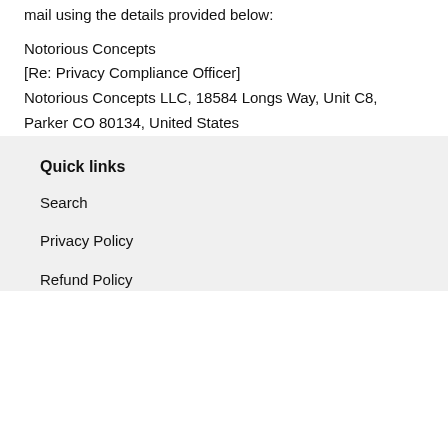mail using the details provided below:
Notorious Concepts
[Re: Privacy Compliance Officer]
Notorious Concepts LLC, 18584 Longs Way, Unit C8, Parker CO 80134, United States
Quick links
Search
Privacy Policy
Refund Policy